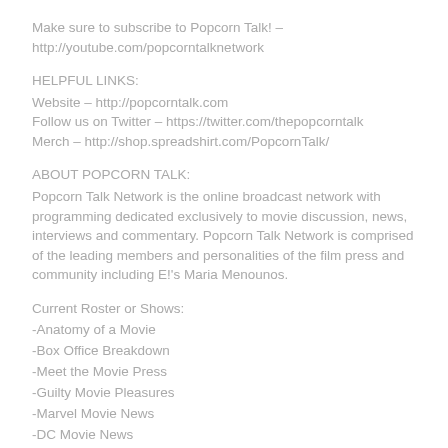Make sure to subscribe to Popcorn Talk! – http://youtube.com/popcorntalknetwork
HELPFUL LINKS:
Website – http://popcorntalk.com
Follow us on Twitter – https://twitter.com/thepopcorntalk
Merch – http://shop.spreadshirt.com/PopcornTalk/
ABOUT POPCORN TALK:
Popcorn Talk Network is the online broadcast network with programming dedicated exclusively to movie discussion, news, interviews and commentary. Popcorn Talk Network is comprised of the leading members and personalities of the film press and community including E!'s Maria Menounos.
Current Roster or Shows:
-Anatomy of a Movie
-Box Office Breakdown
-Meet the Movie Press
-Guilty Movie Pleasures
-Marvel Movie News
-DC Movie News